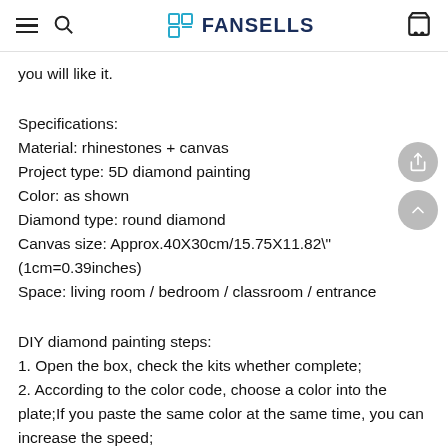FANSELLS
you will like it.
Specifications:
Material: rhinestones + canvas
Project type: 5D diamond painting
Color: as shown
Diamond type: round diamond
Canvas size: Approx.40X30cm/15.75X11.82" (1cm=0.39inches)
Space: living room / bedroom / classroom / entrance
DIY diamond painting steps:
1. Open the box, check the kits whether complete;
2. According to the color code, choose a color into the plate;If you paste the same color at the same time, you can increase the speed;
3. [cut off]